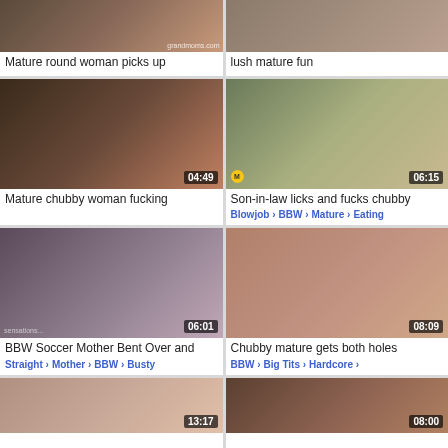[Figure (screenshot): Video thumbnail grid - top row partial, two thumbnails]
Mature round woman picks up
lush mature fun
[Figure (screenshot): Video thumbnail - Mature chubby woman, duration 04:49]
Mature chubby woman fucking
[Figure (screenshot): Video thumbnail - Son-in-law licks, duration 06:15]
Son-in-law licks and fucks chubby
Blowjob › BBW › Mature › Eating
[Figure (screenshot): Video thumbnail - BBW Soccer Mother, duration 06:01]
BBW Soccer Mother Bent Over and
Straight › Mother › BBW › Busty
[Figure (screenshot): Video thumbnail - Chubby mature, duration 08:09]
Chubby mature gets both holes
BBW › Big Tits › Hardcore ›
[Figure (screenshot): Video thumbnail bottom left partial, duration 13:17]
[Figure (screenshot): Video thumbnail bottom right partial, duration 08:00]